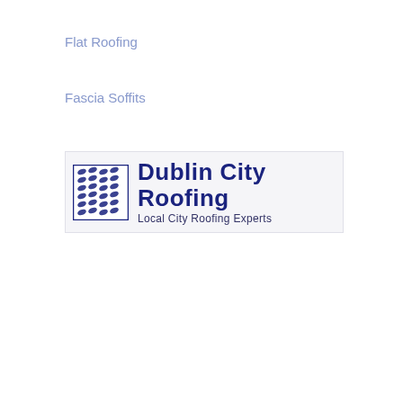Flat Roofing
Fascia Soffits
[Figure (logo): Dublin City Roofing logo with a blue tile-pattern square icon on the left, bold text 'Dublin City Roofing' and subtitle 'Local City Roofing Experts']